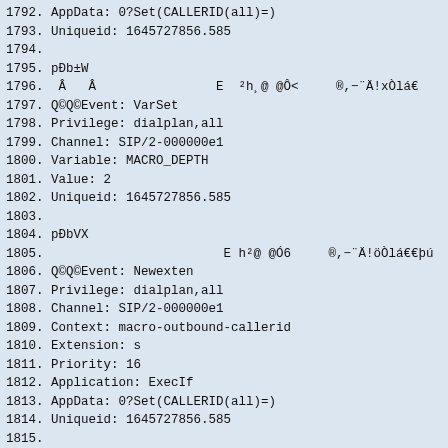1792. AppData: 0?Set(CALLERID(all)=)
1793. Uniqueid: 1645727856.585
1794.
1795. pÐb±W
1796.  Â   Â                E  ²h¸@ @Ô<     ®,−¨Ä!xÒlá€
1797. Q©Q©Event: VarSet
1798. Privilege: dialplan,all
1799. Channel: SIP/2-000000e1
1800. Variable: MACRO_DEPTH
1801. Value: 2
1802. Uniqueid: 1645727856.585
1803.
1804. pÐbVX
1805.                        E h²@ @Ó6     ®,−¨Ä!öÒlá€€þú
1806. Q©Q©Event: Newexten
1807. Privilege: dialplan,all
1808. Channel: SIP/2-000000e1
1809. Context: macro-outbound-callerid
1810. Extension: s
1811. Priority: 16
1812. Application: ExecIf
1813. AppData: 0?Set(CALLERID(all)=)
1814. Uniqueid: 1645727856.585
1815.
1816. pÐbÓX
1817.  Â   Â                E  ²hº@ @Ô%     ®,−¨Ä"ÈÒlá€
1818. Q©Q©Event: VarSet
1819. Privilege: dialplan,all
1820. Channel: SIP/2-000000e1